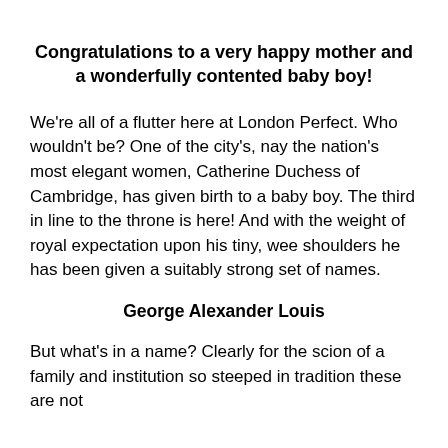Congratulations to a very happy mother and a wonderfully contented baby boy!
We're all of a flutter here at London Perfect. Who wouldn't be? One of the city's, nay the nation's most elegant women, Catherine Duchess of Cambridge, has given birth to a baby boy. The third in line to the throne is here! And with the weight of royal expectation upon his tiny, wee shoulders he has been given a suitably strong set of names.
George Alexander Louis
But what's in a name? Clearly for the scion of a family and institution so steeped in tradition these are not